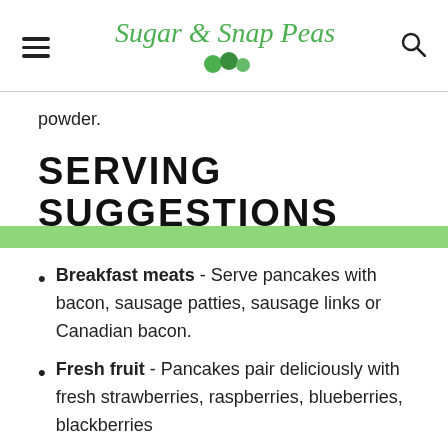Sugar & Snap Peas
powder.
SERVING SUGGESTIONS
Breakfast meats - Serve pancakes with bacon, sausage patties, sausage links or Canadian bacon.
Fresh fruit - Pancakes pair deliciously with fresh strawberries, raspberries, blueberries, blackberries